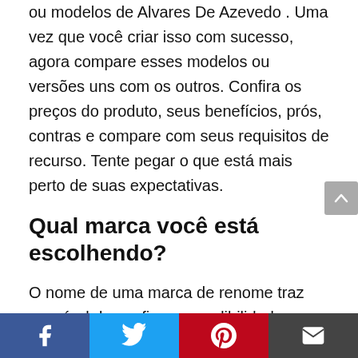ou modelos de Alvares De Azevedo . Uma vez que você criar isso com sucesso, agora compare esses modelos ou versões uns com os outros. Confira os preços do produto, seus benefícios, prós, contras e compare com seus requisitos de recurso. Tente pegar o que está mais perto de suas expectativas.
Qual marca você está escolhendo?
O nome de uma marca de renome traz um nível de confiança, credibilidade e confiabilidade ao longo dela. Todos preferem ir com uma marca que possa fornecer melhores vendas e serviços pós-venda. Uma marca não só é uma garantia da qualidade,
Facebook | Twitter | Pinterest | Email